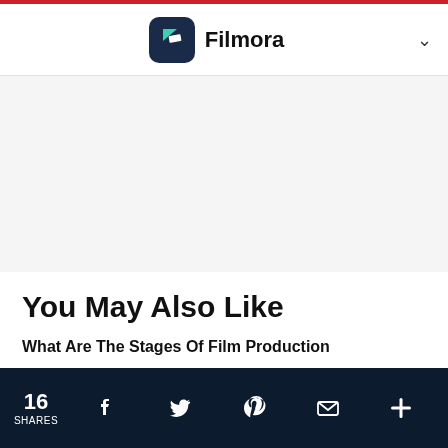Filmora
You May Also Like
What Are The Stages Of Film Production
In this article, we will cover the stages of film production you need to keep in mind. Without further ado, let's get started!
16 SHARES